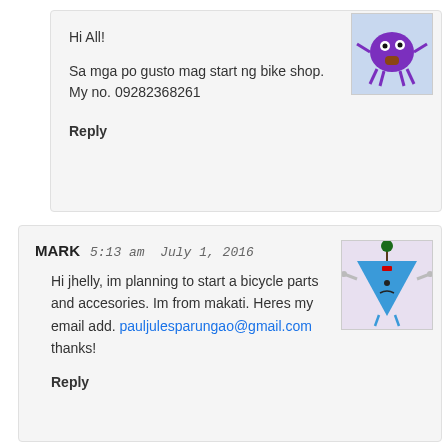Hi All!
Sa mga po gusto mag start ng bike shop. My no. 09282368261
Reply
MARK   5:13 am   July 1, 2016
Hi jhelly, im planning to start a bicycle parts and accesories. Im from makati. Heres my email add. pauljulesparungao@gmail.com thanks!
Reply